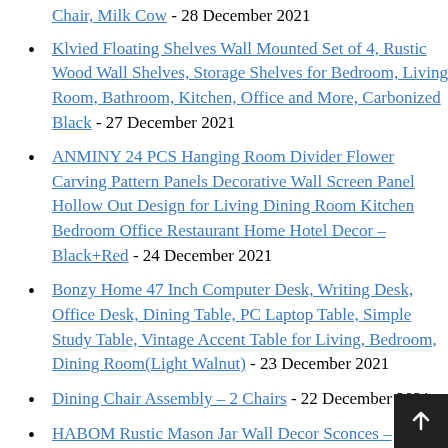Chair, Milk Cow - 28 December 2021
Klvied Floating Shelves Wall Mounted Set of 4, Rustic Wood Wall Shelves, Storage Shelves for Bedroom, Living Room, Bathroom, Kitchen, Office and More, Carbonized Black - 27 December 2021
ANMINY 24 PCS Hanging Room Divider Flower Carving Pattern Panels Decorative Wall Screen Panel Hollow Out Design for Living Dining Room Kitchen Bedroom Office Restaurant Home Hotel Decor – Black+Red - 24 December 2021
Bonzy Home 47 Inch Computer Desk, Writing Desk, Office Desk, Dining Table, PC Laptop Table, Simple Study Table, Vintage Accent Table for Living, Bedroom, Dining Room(Light Walnut) - 23 December 2021
Dining Chair Assembly – 2 Chairs - 22 December 2021
HABOM Rustic Mason Jar Wall Decor Sconces –